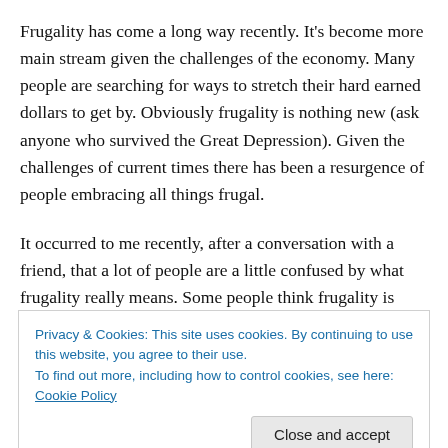Frugality has come a long way recently. It's become more main stream given the challenges of the economy. Many people are searching for ways to stretch their hard earned dollars to get by. Obviously frugality is nothing new (ask anyone who survived the Great Depression). Given the challenges of current times there has been a resurgence of people embracing all things frugal.
It occurred to me recently, after a conversation with a friend, that a lot of people are a little confused by what frugality really means. Some people think frugality is about
Privacy & Cookies: This site uses cookies. By continuing to use this website, you agree to their use.
To find out more, including how to control cookies, see here: Cookie Policy
[Close and accept]
But bear with me a bit here as I don my homeschool mom